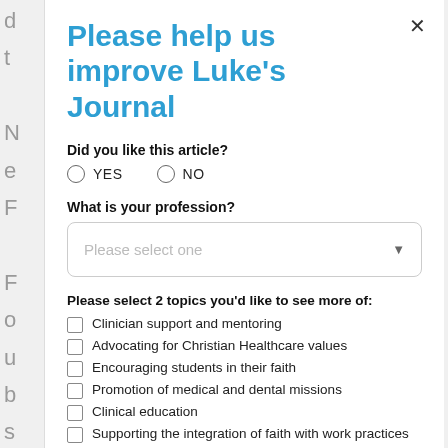Please help us improve Luke's Journal
Did you like this article?  YES  NO
What is your profession?
Please select one
Please select 2 topics you'd like to see more of:
Clinician support and mentoring
Advocating for Christian Healthcare values
Encouraging students in their faith
Promotion of medical and dental missions
Clinical education
Supporting the integration of faith with work practices